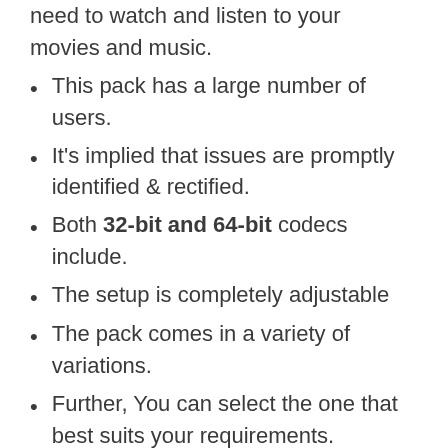need to watch and listen to your movies and music.
This pack has a large number of users.
It's implied that issues are promptly identified & rectified.
Both 32-bit and 64-bit codecs include.
The setup is completely adjustable
The pack comes in a variety of variations.
Further, You can select the one that best suits your requirements.
Also It is easier, faster, & more